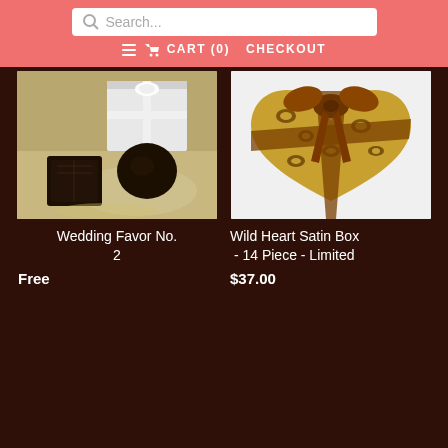Search... | CART (0) | CHECKOUT
[Figure (photo): Photo of dark chocolate truffles on a marble surface with a white gift box in the background]
Wedding Favor No. 2
Free
[Figure (photo): Photo of a heart-shaped leopard print satin box with brown ribbon bow]
Wild Heart Satin Box - 14 Piece - Limited
$37.00